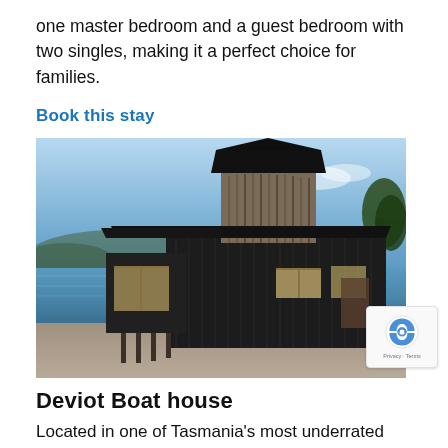one master bedroom and a guest bedroom with two singles, making it a perfect choice for families.
Book this stay
[Figure (photo): Exterior photo of Deviot Boat House, a modern dark-clad building with corrugated metal siding and a timber gabled section, situated on the waterfront at dusk with a calm lake/river in the background and gravel foreground.]
Deviot Boat house
Located in one of Tasmania's most underrated regions to explore, the Tamar Valley, this boat house